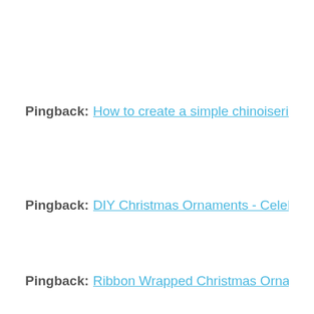Pingback: How to create a simple chinoiserie Christm…
Pingback: DIY Christmas Ornaments - Celebrate & De…
Pingback: Ribbon Wrapped Christmas Ornament - My…